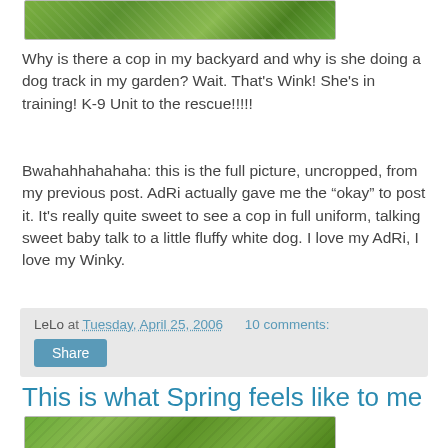[Figure (photo): Partial photo of a backyard garden scene with green grass/plants, cropped at top]
Why is there a cop in my backyard and why is she doing a dog track in my garden? Wait. That's Wink! She's in training! K-9 Unit to the rescue!!!!!
Bwahahhahahaha: this is the full picture, uncropped, from my previous post. AdRi actually gave me the "okay" to post it. It's really quite sweet to see a cop in full uniform, talking sweet baby talk to a little fluffy white dog. I love my AdRi, I love my Winky.
LeLo at Tuesday, April 25, 2006   10 comments:
Share
This is what Spring feels like to me
[Figure (photo): Photo of green grassy/garden scene, blurred motion, spring landscape]